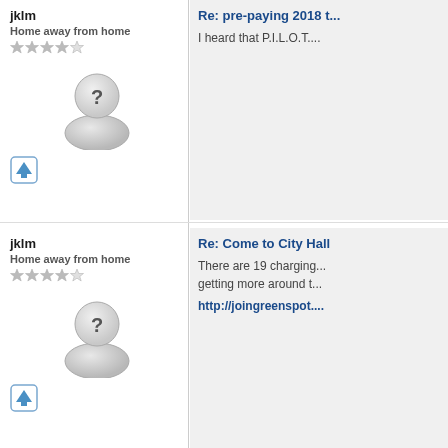jklm
Home away from home
[Figure (illustration): Generic user avatar icon with question mark]
Re: pre-paying 2018 t...
I heard that P.I.L.O.T....
jklm
Home away from home
[Figure (illustration): Generic user avatar icon with question mark]
Re: Come to City Hall
There are 19 charging... getting more around t...
http://joingreenspot....